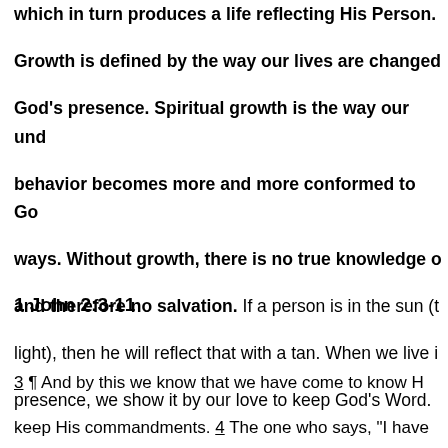which in turn produces a life reflecting His Person. Growth is defined by the way our lives are changed by God's presence. Spiritual growth is the way our understanding and behavior becomes more and more conformed to God's ways. Without growth, there is no true knowledge of God, and therefore no salvation. If a person is in the sun (the light), then he will reflect that with a tan. When we live in His presence, we show it by our love to keep God's Word.
1 John 2:3-11
3 ¶ And by this we know that we have come to know Him, if we keep His commandments. 4 The one who says, "I have